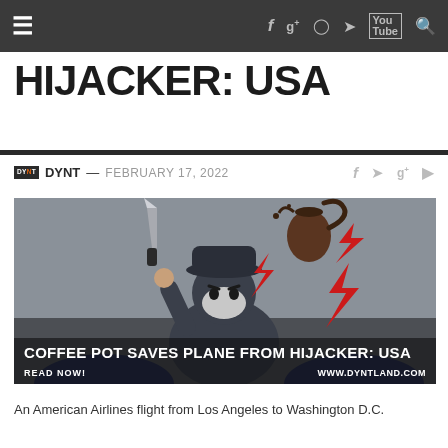≡  f  g+  ◎  🐦  You Tube  🔍
HIJACKER: USA
DYNT — FEBRUARY 17, 2022
[Figure (illustration): Cartoon illustration of a masked hijacker holding a knife with a coffee pot being thrown at him, with red lightning bolt decorations. Text overlay reads: COFFEE POT SAVES PLANE FROM HIJACKER: USA / READ NOW! / WWW.DYNTLAND.COM]
An American Airlines flight from Los Angeles to Washington D.C.